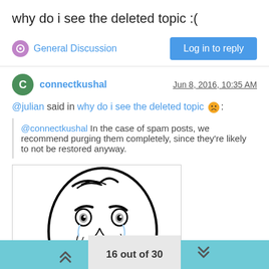why do i see the deleted topic :(
General Discussion | Log in to reply
connectkushal  Jun 8, 2016, 10:35 AM
@julian said in why do i see the deleted topic 😟:
@connectkushal In the case of spam posts, we recommend purging them completely, since they're likely to not be restored anyway.
[Figure (illustration): A rage face / 'Y U NO' style meme face drawing in black and white, showing a simplified cartoon face with exaggerated distressed expression.]
16 out of 30